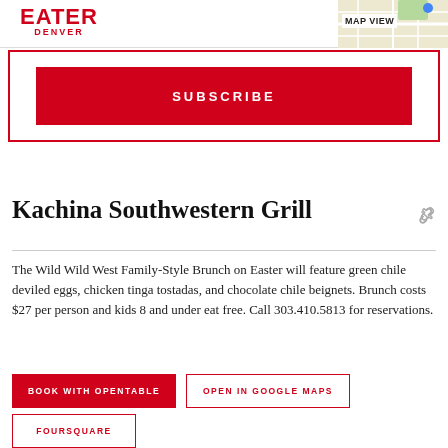EATER DENVER
SUBSCRIBE
Kachina Southwestern Grill
The Wild Wild West Family-Style Brunch on Easter will feature green chile deviled eggs, chicken tinga tostadas, and chocolate chile beignets. Brunch costs $27 per person and kids 8 and under eat free. Call 303.410.5813 for reservations.
BOOK WITH OPENTABLE
OPEN IN GOOGLE MAPS
FOURSQUARE